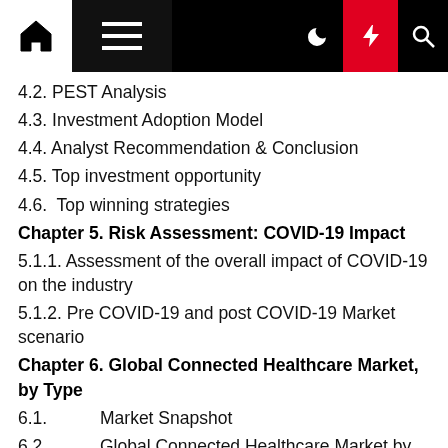[Figure (other): Navigation bar with home icon, hamburger menu, dark/light mode, lightning/flash icon, and search icon]
4.2. PEST Analysis
4.3. Investment Adoption Model
4.4. Analyst Recommendation & Conclusion
4.5. Top investment opportunity
4.6.  Top winning strategies
Chapter 5. Risk Assessment: COVID-19 Impact
5.1.1. Assessment of the overall impact of COVID-19 on the industry
5.1.2. Pre COVID-19 and post COVID-19 Market scenario
Chapter 6. Global Connected Healthcare Market, by Type
6.1.          Market Snapshot
6.2.          Global Connected Healthcare Market by Type, Performance – Potential Analysis
6.3.          Global Connected Healthcare Market Estimates & Forecasts by Type 2019-2028 (USD Billion)